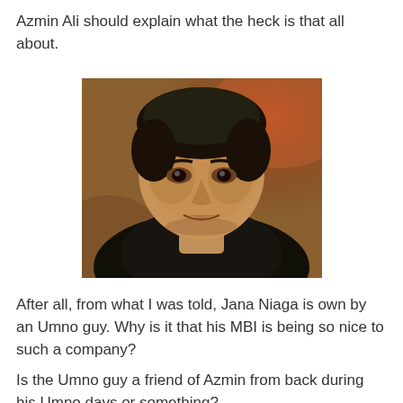Azmin Ali should explain what the heck is that all about.
[Figure (photo): Close-up portrait photo of a man (Azmin Ali) with short dark hair, wearing a dark jacket, against a blurred warm-toned background.]
After all, from what I was told, Jana Niaga is own by an Umno guy. Why is it that his MBI is being so nice to such a company?
Is the Umno guy a friend of Azmin from back during his Umno days or something?
Very weird, actually.